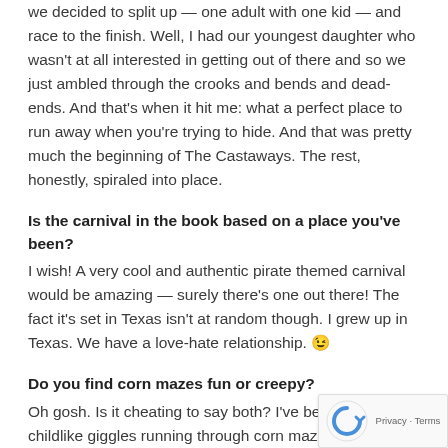we decided to split up — one adult with one kid — and race to the finish. Well, I had our youngest daughter who wasn't at all interested in getting out of there and so we just ambled through the crooks and bends and dead-ends. And that's when it hit me: what a perfect place to run away when you're trying to hide. And that was pretty much the beginning of The Castaways. The rest, honestly, spiraled into place.
Is the carnival in the book based on a place you've been?
I wish! A very cool and authentic pirate themed carnival would be amazing — surely there's one out there! The fact it's set in Texas isn't at random though. I grew up in Texas. We have a love-hate relationship. 😉
Do you find corn mazes fun or creepy?
Oh gosh. Is it cheating to say both? I've been pus... childlike giggles running through corn mazes trying to